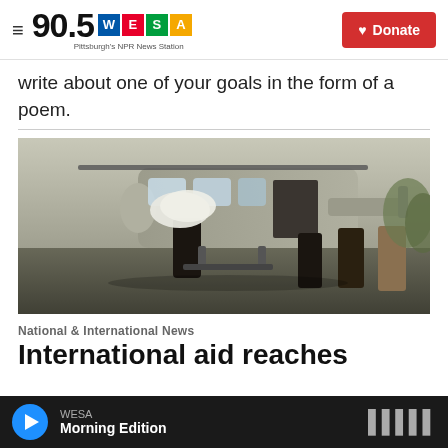90.5 WESA Pittsburgh's NPR News Station | Donate
write about one of your goals in the form of a poem.
[Figure (photo): People unloading large white supply bags from a military-style helicopter onto a tarmac; multiple men in dark clothing assisting with cargo.]
National & International News
International aid reaches
WESA Morning Edition